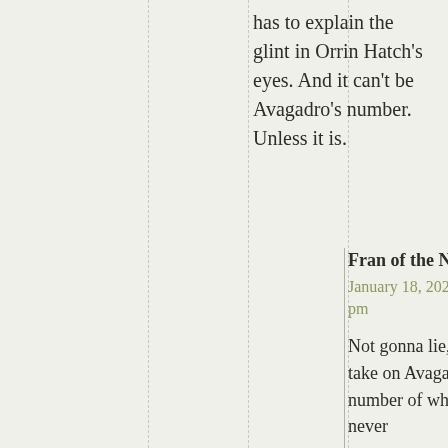has to explain the glint in Orrin Hatch's eyes. And it can't be Avagadro's number. Unless it is.
Fran of the North
January 18, 2020 at 12:15 pm
Not gonna lie, that is a take on Avagadro's number of which I've never